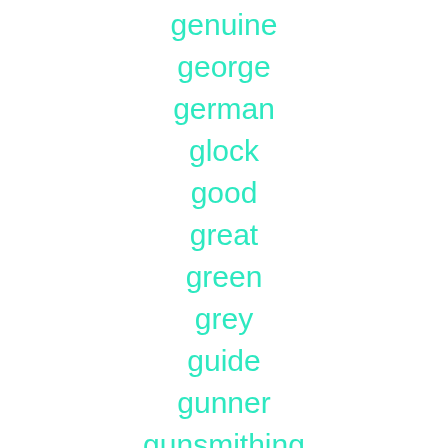genuine
george
german
glock
good
great
green
grey
guide
gunner
gunsmithing
guys